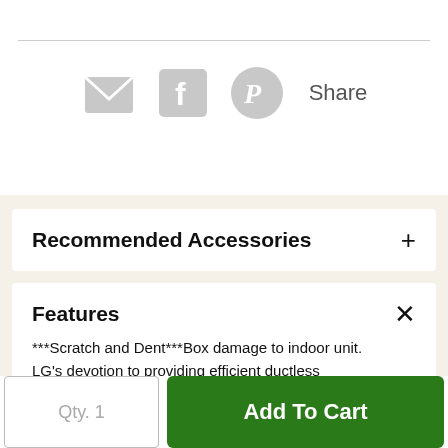[Figure (infographic): Social share icons row: email (envelope), Facebook, Pinterest, and 'Share' text label]
Recommended Accessories
Features
***Scratch and Dent***Box damage to indoor unit. LG's devotion to providing efficient ductless
Qty. 1
Add To Cart